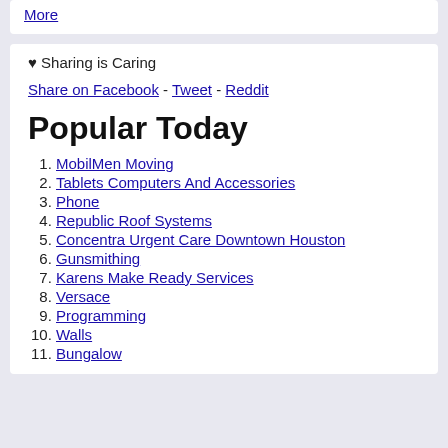More
♥ Sharing is Caring
Share on Facebook - Tweet - Reddit
Popular Today
1. MobilMen Moving
2. Tablets Computers And Accessories
3. Phone
4. Republic Roof Systems
5. Concentra Urgent Care Downtown Houston
6. Gunsmithing
7. Karens Make Ready Services
8. Versace
9. Programming
10. Walls
11. Bungalow